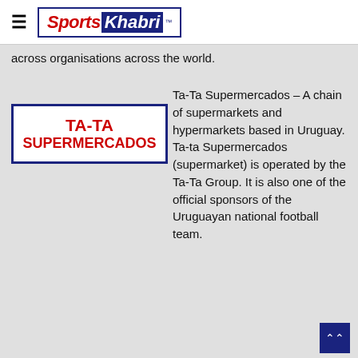Sports Khabri
across organisations across the world.
[Figure (logo): Ta-Ta Supermercados logo with bold red text on white background with blue border]
Ta-Ta Supermercados – A chain of supermarkets and hypermarkets based in Uruguay. Ta-ta Supermercados (supermarket) is operated by the Ta-Ta Group. It is also one of the official sponsors of the Uruguayan national football team.